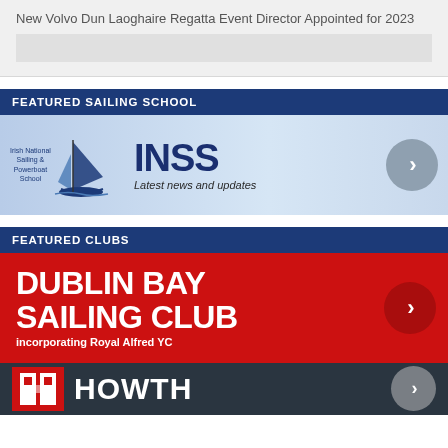New Volvo Dun Laoghaire Regatta Event Director Appointed for 2023
FEATURED SAILING SCHOOL
[Figure (logo): INSS (Irish National Sailing & Powerboat School) banner with logo, sail graphic, name in large navy text, and subtitle 'Latest news and updates' on light blue gradient background with a grey arrow circle button.]
FEATURED CLUBS
[Figure (logo): Dublin Bay Sailing Club banner on red background with large white text 'DUBLIN BAY SAILING CLUB incorporating Royal Alfred YC' and a dark red arrow circle button.]
[Figure (logo): Howth Yacht Club banner partially visible at bottom, dark background with red logo and large white text 'HOWTH'.]